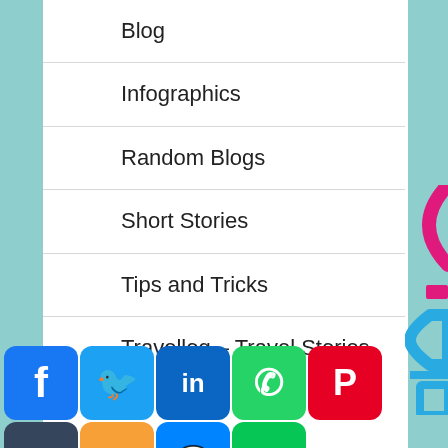Blog
Infographics
Random Blogs
Short Stories
Tips and Tricks
Travellog – Travel Stories
BLOG BY THEMATTIC TEAM | ONLINE